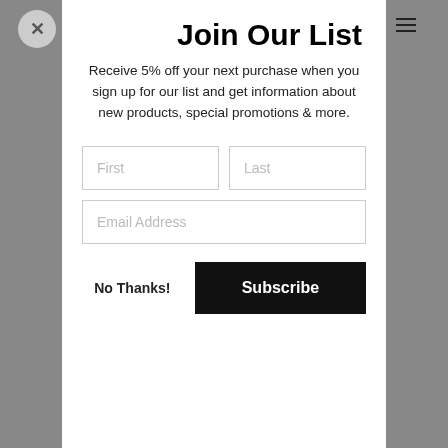Join Our List
Receive 5% off your next purchase when you sign up for our list and get information about new products, special promotions & more.
First
Last
Email Address
No Thanks!
Subscribe